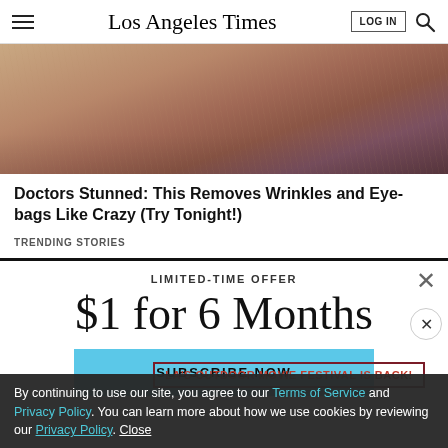Los Angeles Times | LOG IN | Search
[Figure (photo): Close-up photo of elderly skin showing wrinkles around eyes and nose area]
Doctors Stunned: This Removes Wrinkles and Eye-bags Like Crazy (Try Tonight!)
TRENDING STORIES
LIMITED-TIME OFFER
$1 for 6 Months
SUBSCRIBE NOW
LA'S OUTDOOR MOVIE FESTIVAL IS BACK!
By continuing to use our site, you agree to our Terms of Service and Privacy Policy. You can learn more about how we use cookies by reviewing our Privacy Policy. Close